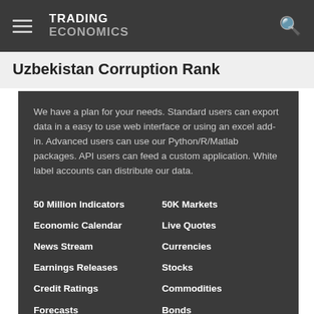TRADING ECONOMICS
Uzbekistan Corruption Rank
We have a plan for your needs. Standard users can export data in a easy to use web interface or using an excel add-in. Advanced users can use our Python/R/Matlab packages. API users can feed a custom application. White label accounts can distribute our data.
50 Million Indicators
50K Markets
Economic Calendar
Live Quotes
News Stream
Currencies
Earnings Releases
Stocks
Credit Ratings
Commodities
Forecasts
Bonds
Get Started